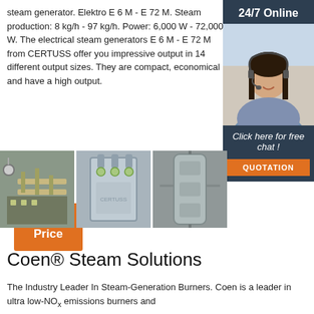steam generator. Elektro E 6 M - E 72 M. Steam production: 8 kg/h - 97 kg/h. Power: 6,000 W - 72,000 W. The electrical steam generators E 6 M - E 72 M from CERTUSS offer you impressive output in 14 different output sizes. They are compact, economical and have a high output.
[Figure (other): 24/7 Online chat widget with woman wearing headset, dark blue background, and orange QUOTATION button]
[Figure (other): Orange Get Price button]
[Figure (photo): Three product/installation photos: industrial steam system installation, electrical steam generator unit, and pipe/equipment closeup]
Coen® Steam Solutions
The Industry Leader In Steam-Generation Burners. Coen is a leader in ultra low-NOx emissions burners and